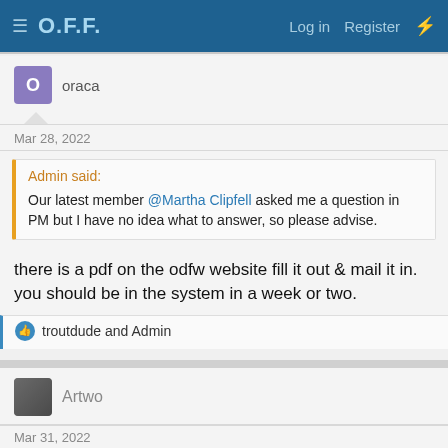O.F.F.  Log in  Register
oraca
Mar 28, 2022
Admin said:
Our latest member @Martha Clipfell asked me a question in PM but I have no idea what to answer, so please advise.
there is a pdf on the odfw website fill it out & mail it in. you should be in the system in a week or two.
troutdude and Admin
Artwo
Mar 31, 2022
Short answer — call ODFW for direction — they're easy to get